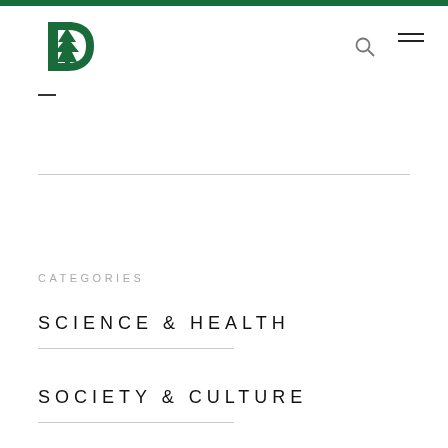[Figure (logo): Dartmouth College D with pine tree logo in dark green]
CATEGORIES
SCIENCE & HEALTH
SOCIETY & CULTURE